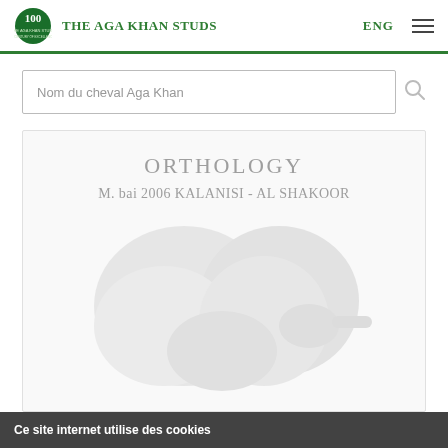THE AGA KHAN STUDS | ENG
Nom du cheval Aga Khan
ORTHOLOGY
M. bai 2006 KALANISI - AL SHAKOOR
[Figure (photo): Greyscale photo of a horse's head and neck, light coloring, low contrast against white background]
Ce site internet utilise des cookies